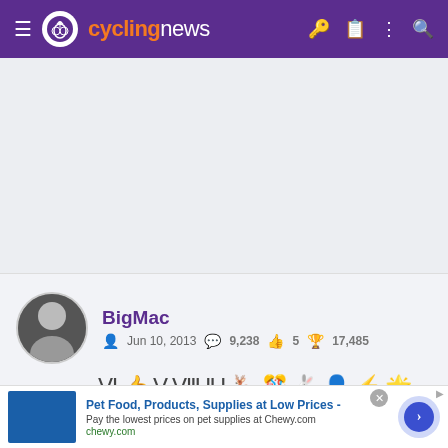cyclingnews
[Figure (screenshot): White advertisement area placeholder]
BigMac
Jun 10, 2013  9,238  5  17,485
[Figure (illustration): User achievement/badge icons row]
Pet Food, Products, Supplies at Low Prices - Pay the lowest prices on pet supplies at Chewy.com chewy.com